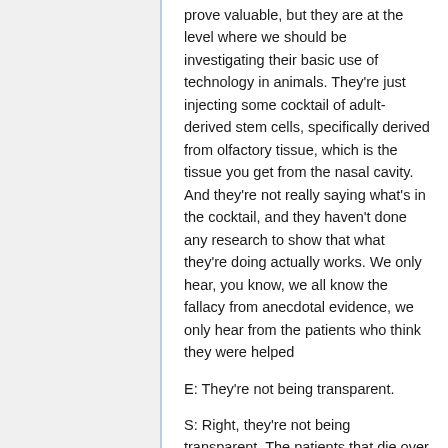prove valuable, but they are at the level where we should be investigating their basic use of technology in animals. They're just injecting some cocktail of adult-derived stem cells, specifically derived from olfactory tissue, which is the tissue you get from the nasal cavity. And they're not really saying what's in the cocktail, and they haven't done any research to show that what they're doing actually works. We only hear, you know, we all know the fallacy from anecdotal evidence, we only hear from the patients who think they were helped
E: They're not being transparent.
S: Right, they're not being transparent. The patients that die over there, you know, you never hear about them. Or the patients who were not helped. They're